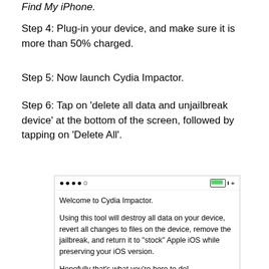Find My iPhone.
Step 4: Plug-in your device, and make sure it is more than 50% charged.
Step 5: Now launch Cydia Impactor.
Step 6: Tap on 'delete all data and unjailbreak device' at the bottom of the screen, followed by tapping on 'Delete All'.
[Figure (screenshot): Cydia Impactor app screenshot showing status bar with signal dots and battery icon, with welcome message and description of what the tool does.]